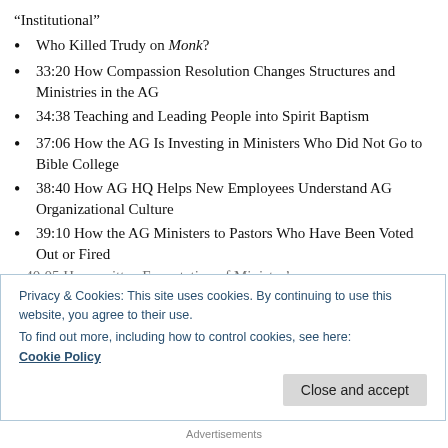“Institutional”
Who Killed Trudy on Monk?
33:20 How Compassion Resolution Changes Structures and Ministries in the AG
34:38 Teaching and Leading People into Spirit Baptism
37:06 How the AG Is Investing in Ministers Who Did Not Go to Bible College
38:40 How AG HQ Helps New Employees Understand AG Organizational Culture
39:10 How the AG Ministers to Pastors Who Have Been Voted Out or Fired
40:05 How written Expectation of Minister’s...
Privacy & Cookies: This site uses cookies. By continuing to use this website, you agree to their use. To find out more, including how to control cookies, see here: Cookie Policy
Close and accept
Advertisements